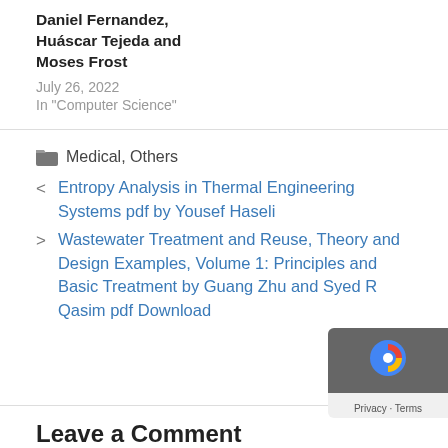Daniel Fernandez, Huáscar Tejeda and Moses Frost
July 26, 2022
In "Computer Science"
Medical, Others
< Entropy Analysis in Thermal Engineering Systems pdf by Yousef Haseli
> Wastewater Treatment and Reuse, Theory and Design Examples, Volume 1: Principles and Basic Treatment by Guang Zhu and Syed R Qasim pdf Download
Leave a Comment